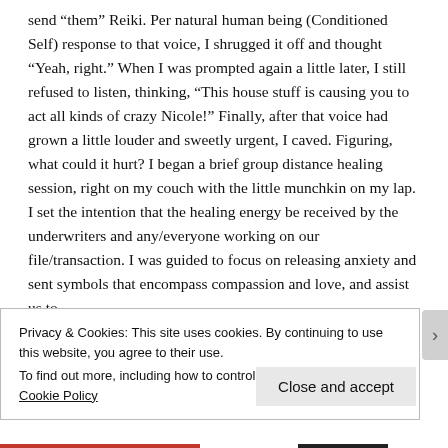send "them" Reiki. Per natural human being (Conditioned Self) response to that voice, I shrugged it off and thought "Yeah, right." When I was prompted again a little later, I still refused to listen, thinking, "This house stuff is causing you to act all kinds of crazy Nicole!" Finally, after that voice had grown a little louder and sweetly urgent, I caved. Figuring, what could it hurt? I began a brief group distance healing session, right on my couch with the little munchkin on my lap. I set the intention that the healing energy be received by the underwriters and any/everyone working on our file/transaction. I was guided to focus on releasing anxiety and sent symbols that encompass compassion and love, and assist us to
Privacy & Cookies: This site uses cookies. By continuing to use this website, you agree to their use.
To find out more, including how to control cookies, see here: Cookie Policy
Close and accept